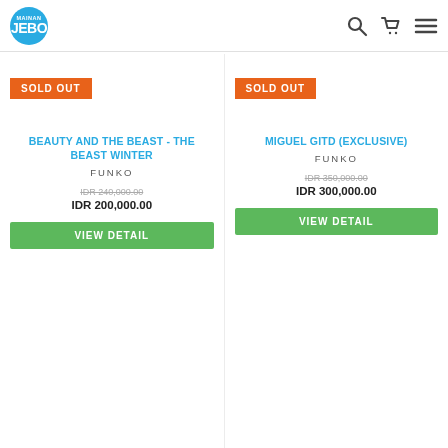Mainan JEBO logo, search, cart, menu
SOLD OUT
BEAUTY AND THE BEAST - THE BEAST WINTER
FUNKO
IDR 240,000.00
IDR 200,000.00
VIEW DETAIL
SOLD OUT
MIGUEL GITD (EXCLUSIVE)
FUNKO
IDR 350,000.00
IDR 300,000.00
VIEW DETAIL